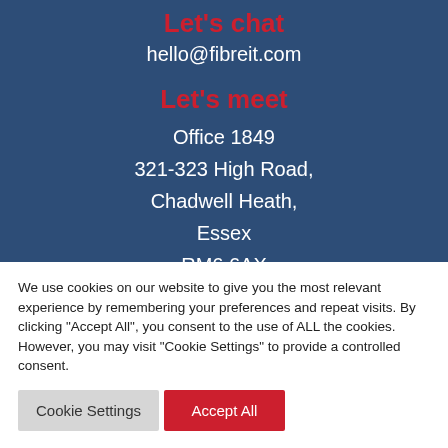Let's chat
hello@fibreit.com
Let's meet
Office 1849
321-323 High Road,
Chadwell Heath,
Essex
RM6 6AX
We use cookies on our website to give you the most relevant experience by remembering your preferences and repeat visits. By clicking "Accept All", you consent to the use of ALL the cookies. However, you may visit "Cookie Settings" to provide a controlled consent.
Cookie Settings | Accept All